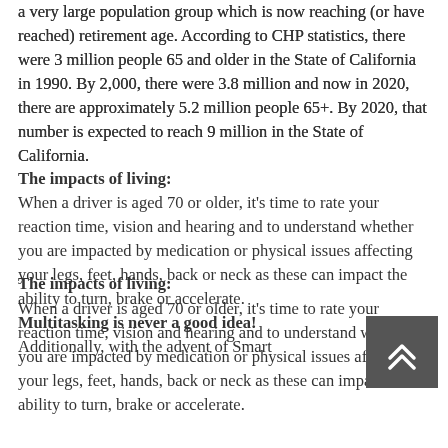a very large population group which is now reaching (or have reached) retirement age. According to CHP statistics, there were 3 million people 65 and older in the State of California in 1990. By 2,000, there were 3.8 million and now in 2020, there are approximately 5.2 million people 65+. By 2020, that number is expected to reach 9 million in the State of California.
The impacts of living:
When a driver is aged 70 or older, it's time to rate your reaction time, vision and hearing and to understand whether you are impacted by medication or physical issues affecting your legs, feet, hands, back or neck as these can impact the ability to turn, brake or accelerate.
Multitasking is never a good idea!
Additionally, with the advent of Smart